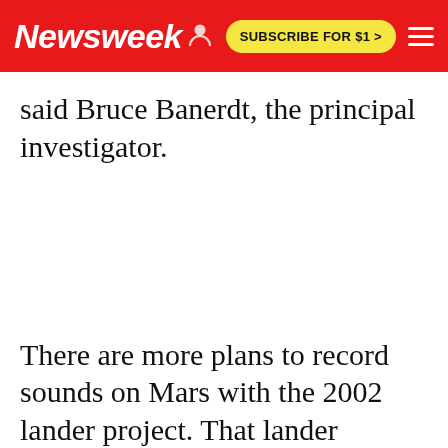Newsweek | SUBSCRIBE FOR $1 >
said Bruce Banerdt, the principal investigator.
There are more plans to record sounds on Mars with the 2002 lander project. That lander